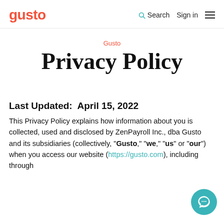gusto | Search | Sign in
Gusto
Privacy Policy
Last Updated: April 15, 2022
This Privacy Policy explains how information about you is collected, used and disclosed by ZenPayroll Inc., dba Gusto and its subsidiaries (collectively, "Gusto," "we," "us" or "our") when you access our website (https://gusto.com), including through